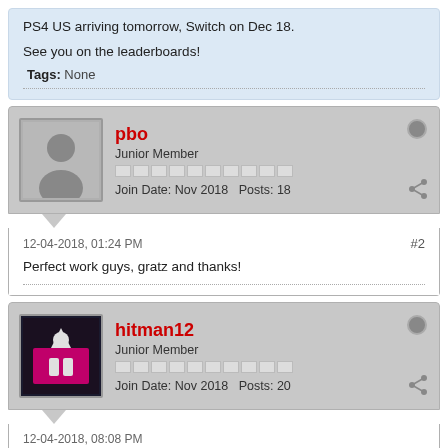PS4 US arriving tomorrow, Switch on Dec 18.

See you on the leaderboards!
Tags: None
pbo
Junior Member
Join Date: Nov 2018   Posts: 18
12-04-2018, 01:24 PM
#2
Perfect work guys, gratz and thanks!
hitman12
Junior Member
Join Date: Nov 2018   Posts: 20